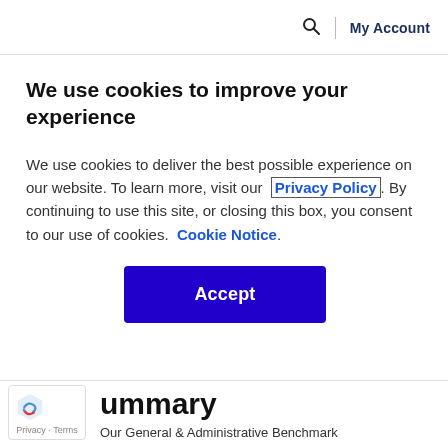🔍 | My Account
We use cookies to improve your experience
We use cookies to deliver the best possible experience on our website. To learn more, visit our Privacy Policy. By continuing to use this site, or closing this box, you consent to our use of cookies. Cookie Notice.
Accept
ummary
Our General & Administrative Benchmark